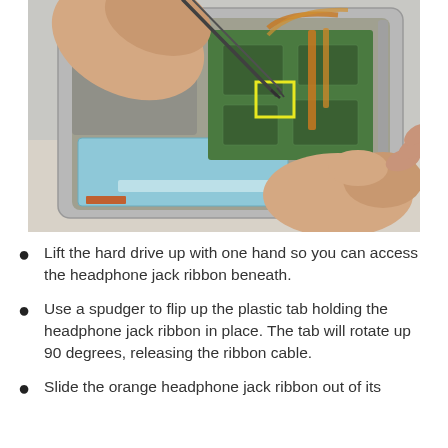[Figure (photo): Close-up photo of hands working on disassembling a portable device (likely an iPod or similar). One hand holds tweezers near a yellow-highlighted connector on a green circuit board, while another hand lifts a light blue hard drive. The device is open showing internal components including the circuit board, ribbon cables, and metallic casing.]
Lift the hard drive up with one hand so you can access the headphone jack ribbon beneath.
Use a spudger to flip up the plastic tab holding the headphone jack ribbon in place. The tab will rotate up 90 degrees, releasing the ribbon cable.
Slide the orange headphone jack ribbon out of its connector.